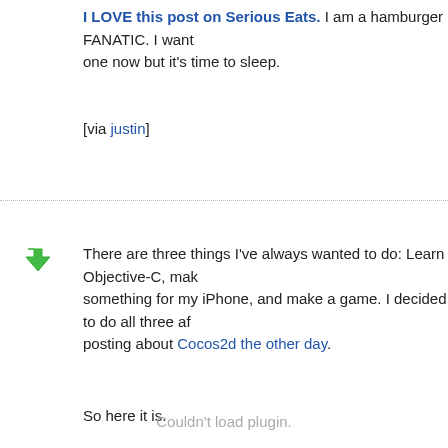I LOVE this post on Serious Eats. I am a hamburger FANATIC. I want one now but it's time to sleep.
[via justin]
There are three things I've always wanted to do: Learn Objective-C, make something for my iPhone, and make a game. I decided to do all three after posting about Cocos2d the other day.
So here it is.
Couldn't load plugin.